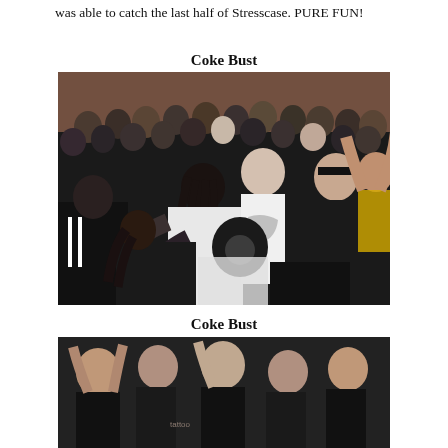was able to catch the last half of Stresscase. PURE FUN!
Coke Bust
[Figure (photo): Concert crowd photo showing a mosh pit with many young people in black clothes, pushing and crowding together in what appears to be an indoor venue with brick walls. A man with dreadlocks is in the center, and people around him are energetically moving.]
Coke Bust
[Figure (photo): Second concert crowd photo showing people in black clothes moshing, partially cropped at the bottom of the page.]